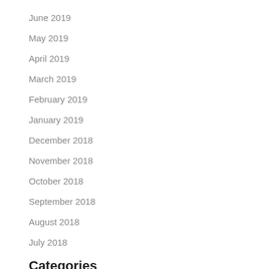June 2019
May 2019
April 2019
March 2019
February 2019
January 2019
December 2018
November 2018
October 2018
September 2018
August 2018
July 2018
Categories
Entrepreneurship